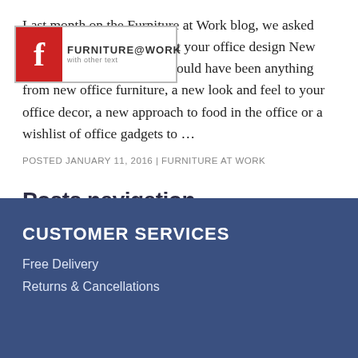[Figure (logo): Furniture at Work logo with red Facebook-style icon and text FURNITURE@WORK overlaid on the article text area]
Last month on the Furniture at Work blog, we asked you all to get thinking about your office design New Year's Resolutions, which could have been anything from new office furniture, a new look and feel to your office decor, a new approach to food in the office or a wishlist of office gadgets to …
POSTED JANUARY 11, 2016 | FURNITURE AT WORK
Posts navigation
← older
CUSTOMER SERVICES
Free Delivery
Returns & Cancellations